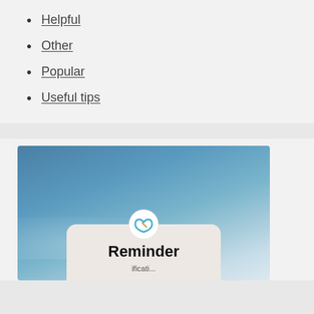Helpful
Other
Popular
Useful tips
[Figure (screenshot): A screenshot showing a Reminder app notification card with a blue sky background. The card has a small infinity/loop icon at the top and displays the bold text 'Reminder' with partial subtitle text visible at the bottom.]